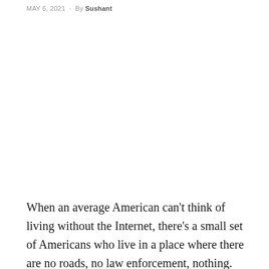MAY 6, 2021  ·  By Sushant
When an average American can't think of living without the Internet, there's a small set of Americans who live in a place where there are no roads, no law enforcement, nothing. These people have chosen to live on the edge of the earth